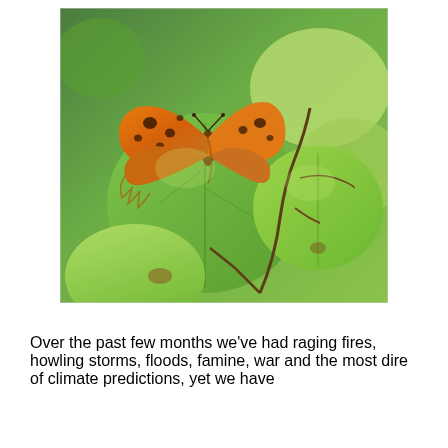[Figure (photo): Close-up photograph of an orange and brown butterfly with dark spots resting on large round green leaves in bright sunlight. The butterfly appears to be a Comma butterfly with jagged wing edges.]
Over the past few months we've had raging fires, howling storms, floods, famine, war and the most dire of climate predictions, yet we have